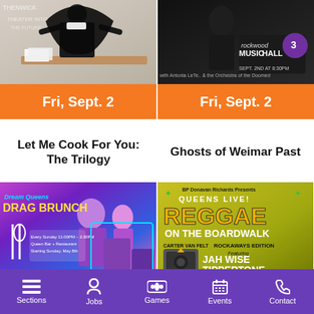[Figure (photo): Person holding up a large black piece of fabric at a table with papers]
Fri, Sept. 2
[Figure (photo): Rockwood Music Hall stage 3 promotional image with dark background, text 'SEPT. 2ND AT 8:30PM']
Fri, Sept. 2
Let Me Cook For You: The Trilogy
Ghosts of Weimar Past
[Figure (photo): Dream Queens Drag Brunch promotional poster with colorful drag performers]
Sun, Sept. 4
[Figure (photo): Queens Live! Reggae on the Boardwalk - Rockaways Edition featuring Jah Wise Tippertone, Carlton Livingston and Friends]
Sun, Sept. 4
Sections  Jobs  Games  Events  Contact